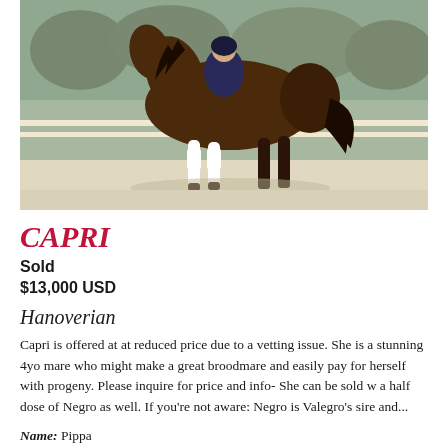[Figure (photo): A bay horse trotting in an arena with a rider, wearing white leg wraps, with a dressage arena marker 'R' visible in the background.]
CAPRI
Sold
$13,000 USD
Hanoverian
Capri is offered at at reduced price due to a vetting issue. She is a stunning 4yo mare who might make a great broodmare and easily pay for herself with progeny. Please inquire for price and info- She can be sold w a half dose of Negro as well. If you're not aware: Negro is Valegro's sire and...
Name: Pippa
Farm: Pippa Moon Training & Sales